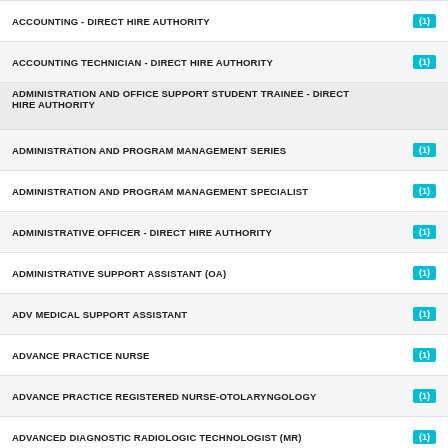ACCOUNTING - DIRECT HIRE AUTHORITY (1)
ACCOUNTING TECHNICIAN - DIRECT HIRE AUTHORITY (1)
ADMINISTRATION AND OFFICE SUPPORT STUDENT TRAINEE - DIRECT HIRE AUTHORITY
ADMINISTRATION AND PROGRAM MANAGEMENT SERIES (1)
ADMINISTRATION AND PROGRAM MANAGEMENT SPECIALIST (1)
ADMINISTRATIVE OFFICER - DIRECT HIRE AUTHORITY (1)
ADMINISTRATIVE SUPPORT ASSISTANT (OA) (1)
ADV MEDICAL SUPPORT ASSISTANT (1)
ADVANCE PRACTICE NURSE (1)
ADVANCE PRACTICE REGISTERED NURSE-OTOLARYNGOLOGY (1)
ADVANCED DIAGNOSTIC RADIOLOGIC TECHNOLOGIST (MR) (1)
ADVANCED MSA (1)
ADVANCED MEDICAL SUPPORT ASSISTANT (1)